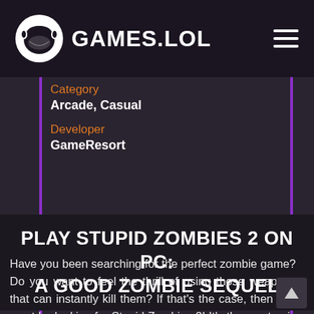GAMES.LOL
Category
Arcade, Casual
Developer
GameResort
PLAY STUPID ZOMBIES 2 ON PC: A GOOD ZOMBIE SEQUEL
Have you been searching for the perfect zombie game? Do you want to feel the thrill of using those weapons that can instantly kill them? If that's the case, then you must be looking for Stupid Zombies 2! It's the most epic continuation of the zombie